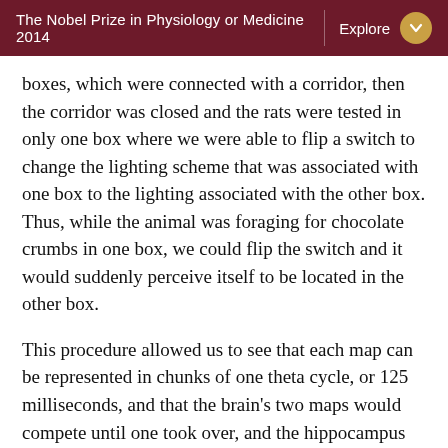The Nobel Prize in Physiology or Medicine 2014   Explore
boxes, which were connected with a corridor, then the corridor was closed and the rats were tested in only one box where we were able to flip a switch to change the lighting scheme that was associated with one box to the lighting associated with the other box. Thus, while the animal was foraging for chocolate crumbs in one box, we could flip the switch and it would suddenly perceive itself to be located in the other box.
This procedure allowed us to see that each map can be represented in chunks of one theta cycle, or 125 milliseconds, and that the brain’s two maps would compete until one took over, and the hippocampus reliably represented the box that was consistent with the landmarks for that given box. This